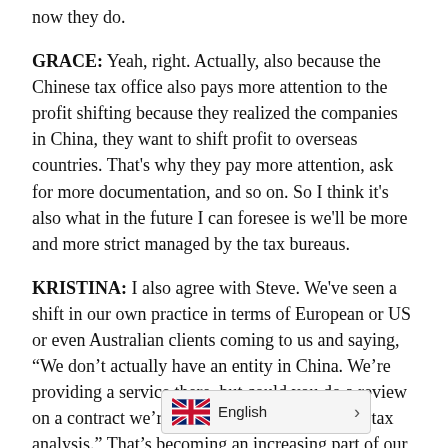now they do.
GRACE: Yeah, right. Actually, also because the Chinese tax office also pays more attention to the profit shifting because they realized the companies in China, they want to shift profit to overseas countries. That's why they pay more attention, ask for more documentation, and so on. So I think it's also what in the future I can foresee is we'll be more and more strict managed by the tax bureaus.
KRISTINA: I also agree with Steve. We've seen a shift in our own practice in terms of European or US or even Australian clients coming to us and saying, "We don't actually have an entity in China. We're providing a service there, but could you do a review on a contract we're about to sign and give us a tax analysis." That's becoming an increasing part of our business in regards to helping them. And it's nice to s[...]are